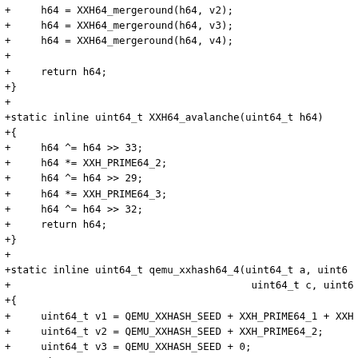+     h64 = XXH64_mergeround(h64, v2);
+     h64 = XXH64_mergeround(h64, v3);
+     h64 = XXH64_mergeround(h64, v4);
+
+     return h64;
+}
+
+static inline uint64_t XXH64_avalanche(uint64_t h64)
+{
+     h64 ^= h64 >> 33;
+     h64 *= XXH_PRIME64_2;
+     h64 ^= h64 >> 29;
+     h64 *= XXH_PRIME64_3;
+     h64 ^= h64 >> 32;
+     return h64;
+}
+
+static inline uint64_t qemu_xxhash64_4(uint64_t a, uint6
+                                        uint64_t c, uint6
+{
+     uint64_t v1 = QEMU_XXHASH_SEED + XXH_PRIME64_1 + XXH
+     uint64_t v2 = QEMU_XXHASH_SEED + XXH_PRIME64_2;
+     uint64_t v3 = QEMU_XXHASH_SEED + 0;
+     uint64_t v4 = QEMU_XXHASH_SEED - XXH_PRIME64_1;
+
+     v1 = XXH64_round(v1, a);
+     v2 = XXH64_round(v2, b);
+     v3 = XXH64_round(v3, c);
+     v4 = XXH64_round(v4, d);
+
+     return XXH64_mergeround(XXH64_mergeround...